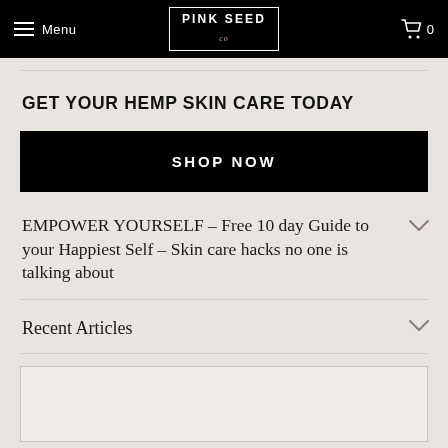Menu | PINK SEED | 0
GET YOUR HEMP SKIN CARE TODAY
SHOP NOW
EMPOWER YOURSELF - Free 10 day Guide to your Happiest Self - Skin care hacks no one is talking about
Recent Articles